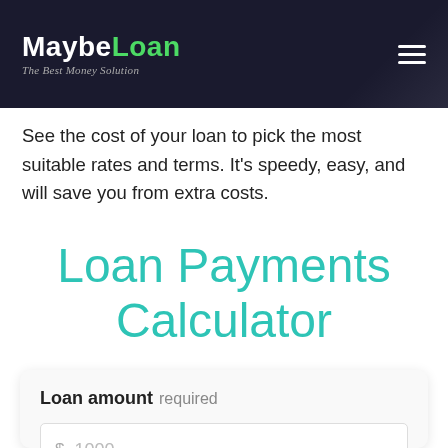MaybeLoan — The Best Money Solution
See the cost of your loan to pick the most suitable rates and terms. It's speedy, easy, and will save you from extra costs.
Loan Payments Calculator
Loan amount required
$ 1000